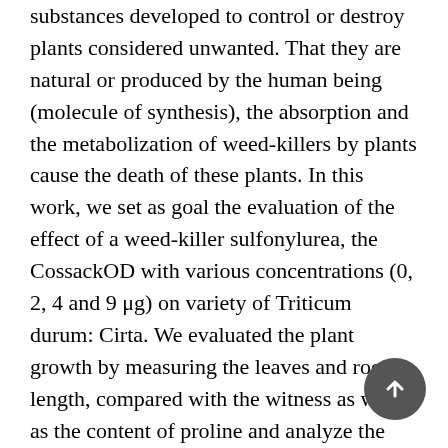substances developed to control or destroy plants considered unwanted. That they are natural or produced by the human being (molecule of synthesis), the absorption and the metabolization of weed-killers by plants cause the death of these plants. In this work, we set as goal the evaluation of the effect of a weed-killer sulfonylurea, the CossackOD with various concentrations (0, 2, 4 and 9 μg) on variety of Triticum durum: Cirta. We evaluated the plant growth by measuring the leaves and root length, compared with the witness as well as the content of proline and analyze the level of one of the antioxydative enzymes: catalase, after 14 days of treatment. Sulfonylurea is foliar and root weed-killers inhibiting the acetolactate synthase: a vegetable enzyme essential to the development of the plant. This inhibition causes the ruling of the growth then the death. The obtained results show a diminution of the average length of